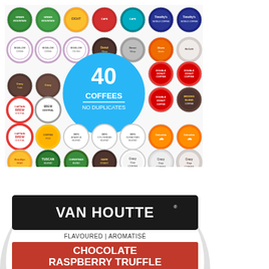[Figure (photo): Grid of 40 coffee K-cups/pods from various brands arranged in rows, with a large blue circle in the center reading '40 COFFEES NO DUPLICATES']
[Figure (photo): Close-up of a Van Houtte K-cup coffee pod. White outer ring, black top area with 'VAN HOUTTE' in white text, white banner with 'FLAVOURED | AROMATISÉ', and red lower area with 'CHOCOLATE RASPBERRY TRUFFLE' and 'TRUFFE CHOCOLAT FRAMBOISE' in white text.]